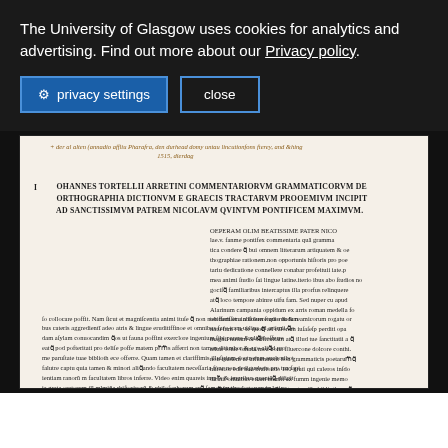The University of Glasgow uses cookies for analytics and advertising. Find out more about our Privacy policy.
⚙ privacy settings
close
[Figure (photo): Scanned manuscript page showing a Latin text titled 'IOHANNES TORTELLII ARRETINI COMMENTARIORUM GRAMMATICORUM DE ORTHOGRAPHIA DICTIONVM E GRAECIS TRACTARVM PROOEMIVM INCIPIT AD SANCTISSIMVM PATREM NICOLAVM QVINTVM PONTIFICEM MAXIMVM.' with handwritten annotations in brown ink at the top and dense printed Latin text below, on aged cream parchment.]